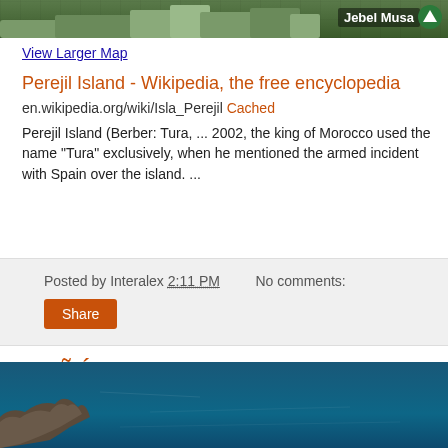[Figure (map): Satellite map strip showing terrain near Jebel Musa with map label and mountain icon]
View Larger Map
Perejil Island - Wikipedia, the free encyclopedia
en.wikipedia.org/wiki/Isla_Perejil Cached
Perejil Island (Berber: Tura, ... 2002, the king of Morocco used the name "Tura" exclusively, when he mentioned the armed incident with Spain over the island. ...
Posted by Interalex 2:11 PM    No comments:
Share
PEÑÓN de Alhucemas Island (Spain) Info, Sept 19, 2014
[Figure (map): Satellite aerial photo of coastline with dark teal ocean and rocky land]